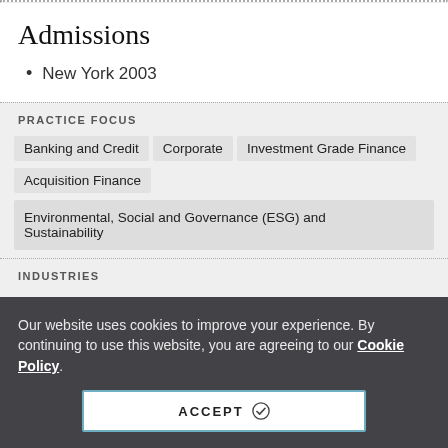Admissions
New York 2003
PRACTICE FOCUS
Banking and Credit
Corporate
Investment Grade Finance
Acquisition Finance
Environmental, Social and Governance (ESG) and Sustainability
INDUSTRIES
Our website uses cookies to improve your experience. By continuing to use this website, you are agreeing to our Cookie Policy.
ACCEPT